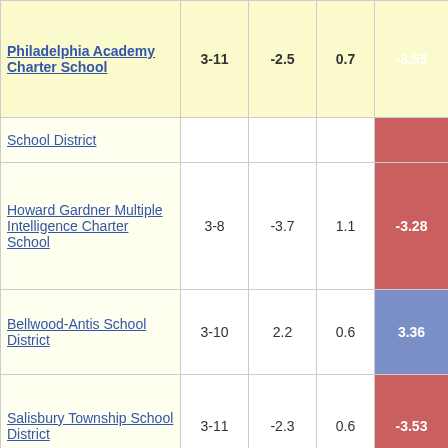| School/District | Grades | Col3 | Col4 | Score |
| --- | --- | --- | --- | --- |
| Philadelphia Academy Charter School | 3-11 | -2.5 | 0.7 | -3.55 |
| School District (partial) |  |  |  |  |
| Howard Gardner Multiple Intelligence Charter School | 3-8 | -3.7 | 1.1 | -3.28 |
| Bellwood-Antis School District | 3-10 | 2.2 | 0.6 | 3.36 |
| Salisbury Township School District | 3-11 | -2.3 | 0.6 | -3.53 |
| Tuscarora School District | 3-11 | -2.4 | 0.5 | -5.11 |
| Bristol Borough School District | 3-12 | -2.4 | 0.7 | -3.56 |
| New Foundations | 3-11 | -1.5 | 0.7 | -2.10 |